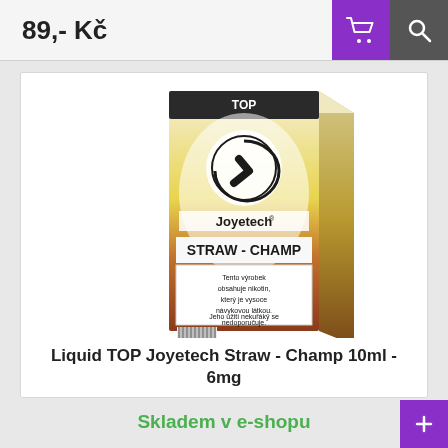89,- Kč
[Figure (photo): Product photo of Joyetech Straw-Champ e-liquid box, 10ml, with TOP branding and Czech nicotine warning label]
Liquid TOP Joyetech Straw - Champ 10ml - 6mg
Skladem v e-shopu